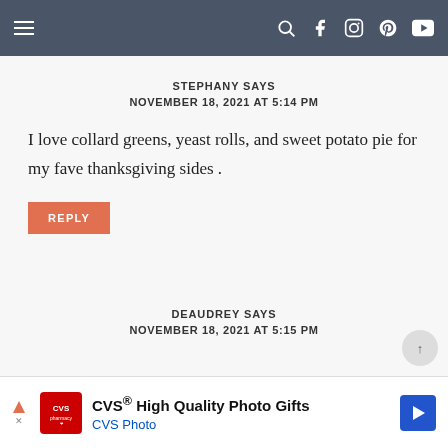Navigation bar with hamburger menu and social icons
STEPHANY SAYS
NOVEMBER 18, 2021 AT 5:14 PM
I love collard greens, yeast rolls, and sweet potato pie for my fave thanksgiving sides .
REPLY
DEAUDREY SAYS
NOVEMBER 18, 2021 AT 5:15 PM
CVS® High Quality Photo Gifts CVS Photo